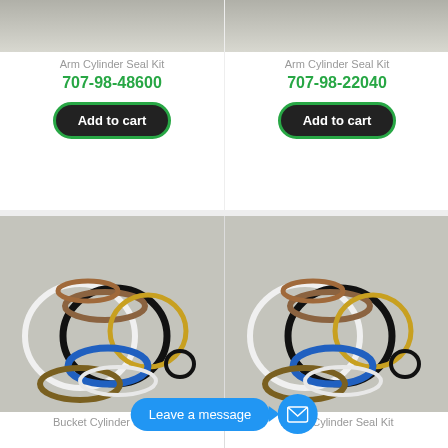[Figure (photo): Top portion of arm cylinder seal kit product image (left), partial gray/beige background]
Arm Cylinder Seal Kit
707-98-48600
Add to cart
[Figure (photo): Top portion of arm cylinder seal kit product image (right), partial gray/beige background]
Arm Cylinder Seal Kit
707-98-22040
Add to cart
[Figure (photo): Bucket cylinder seal kit - collection of rubber O-rings and seals of various sizes and colors (white, black, brown, blue, gold) arranged on gray background]
Bucket Cylinder Seal Kit
[Figure (photo): Boom cylinder seal kit - collection of rubber O-rings and seals of various sizes and colors (white, black, brown, blue, gold) arranged on gray background]
Boom Cylinder Seal Kit
Leave a message